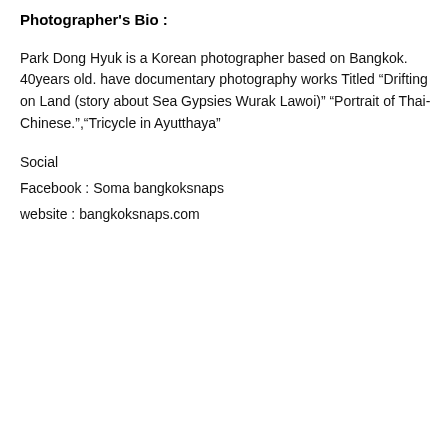Photographer's Bio :
Park Dong Hyuk is a Korean photographer based on Bangkok. 40years old. have documentary photography works Titled “Drifting on Land (story about Sea Gypsies Wurak Lawoi)” “Portrait of Thai-Chinese.”,“Tricycle in Ayutthaya”
Social
Facebook : Soma bangkoksnaps
website : bangkoksnaps.com